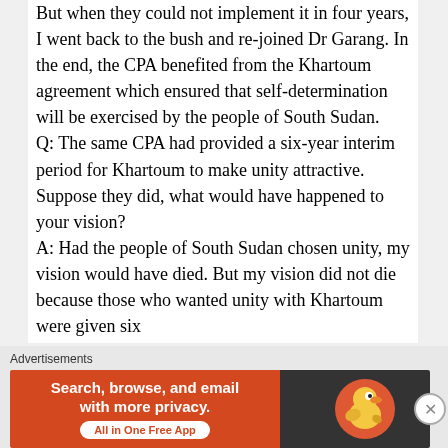But when they could not implement it in four years, I went back to the bush and re-joined Dr Garang. In the end, the CPA benefited from the Khartoum agreement which ensured that self-determination will be exercised by the people of South Sudan. Q: The same CPA had provided a six-year interim period for Khartoum to make unity attractive. Suppose they did, what would have happened to your vision? A: Had the people of South Sudan chosen unity, my vision would have died. But my vision did not die because those who wanted unity with Khartoum were given six
Advertisements
[Figure (infographic): DuckDuckGo advertisement banner with orange background on left reading 'Search, browse, and email with more privacy. All in One Free App' and dark background on right with DuckDuckGo duck logo.]